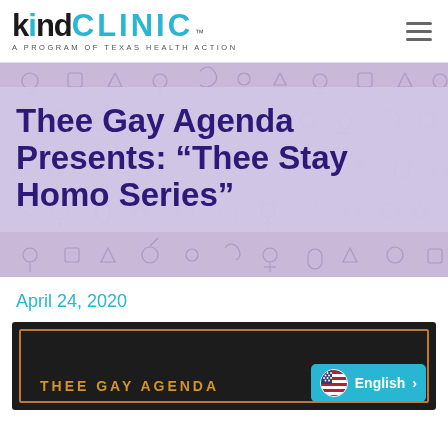[Figure (logo): Kind Clinic logo — 'kind' in black bold, 'CLINIC' in cyan bold, with trademark symbol. Subtitle: 'A PROGRAM OF TEXAS HEALTH ACTION']
Thee Gay Agenda Presents: “Thee Stay Homo Series”
April 24, 2020
[Figure (screenshot): Dark background image with orange border showing 'THEE GAY AGENDA' text in gold, and an English language selector badge in cyan on the right]